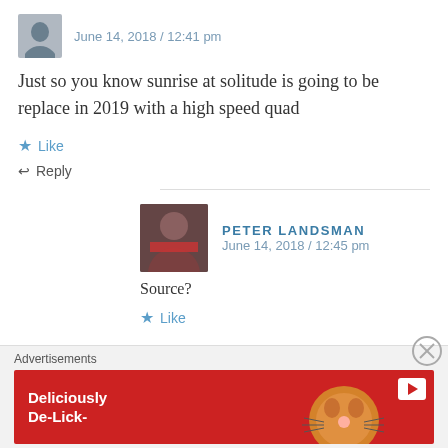June 14, 2018 / 12:41 pm
Just so you know sunrise at solitude is going to be replace in 2019 with a high speed quad
Like
Reply
PETER LANDSMAN
June 14, 2018 / 12:45 pm
Source?
Like
Advertisements
Deliciously De-Lick-